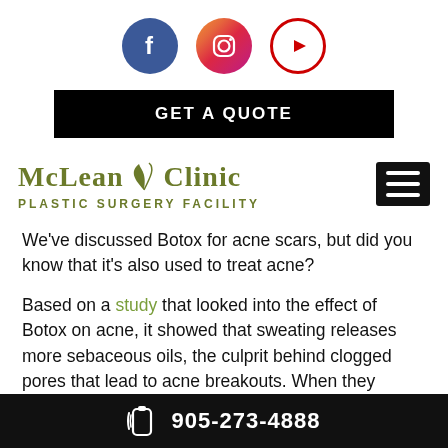[Figure (logo): Social media icons: Facebook (blue circle with f), Instagram (gradient circle with camera), YouTube (white/red circle with play button)]
[Figure (other): Black button bar with text GET A QUOTE]
[Figure (logo): McLean Clinic Plastic Surgery Facility logo in olive/green text with leaf graphic, and black hamburger menu icon on the right]
We’ve discussed Botox for acne scars, but did you know that it’s also used to treat acne?
Based on a study that looked into the effect of Botox on acne, it showed that sweating releases more sebaceous oils, the culprit behind clogged pores that lead to acne breakouts. When they injected Botox into the forehead or brows to reduce the fine lines in the area, they discovered that patients also
905-273-4888